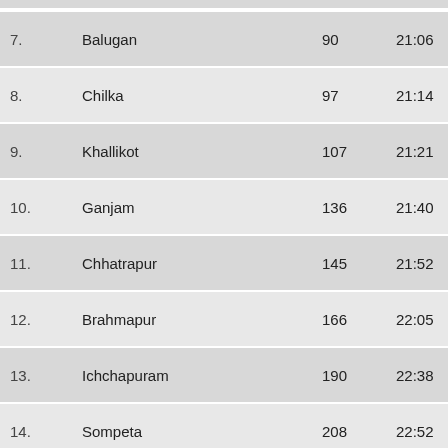| No. | Station | km | Arr. | Dep. |
| --- | --- | --- | --- | --- |
| 7. | Balugan | 90 | 21:06 | 21:07 |
| 8. | Chilka | 97 | 21:14 | 21:15 |
| 9. | Khallikot | 107 | 21:21 | 21:22 |
| 10. | Ganjam | 136 | 21:40 | 21:41 |
| 11. | Chhatrapur | 145 | 21:52 | 21:53 |
| 12. | Brahmapur | 166 | 22:05 | 22:10 |
| 13. | Ichchapuram | 190 | 22:38 | 22:39 |
| 14. | Sompeta | 208 | 22:52 | 22:53 |
| 15. | Palasa | 240 | 00:05 | 00:07 |
| 16. | Naupada Junction | 266 | 00:29 | 00:30 |